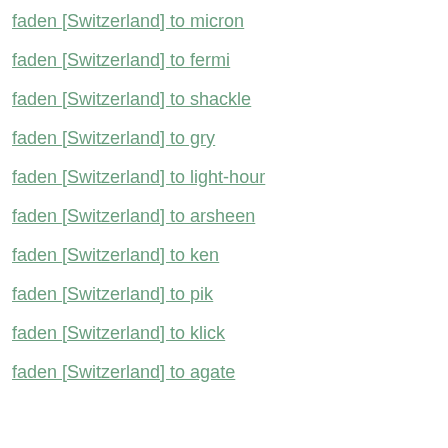faden [Switzerland] to micron
faden [Switzerland] to fermi
faden [Switzerland] to shackle
faden [Switzerland] to gry
faden [Switzerland] to light-hour
faden [Switzerland] to arsheen
faden [Switzerland] to ken
faden [Switzerland] to pik
faden [Switzerland] to klick
faden [Switzerland] to agate